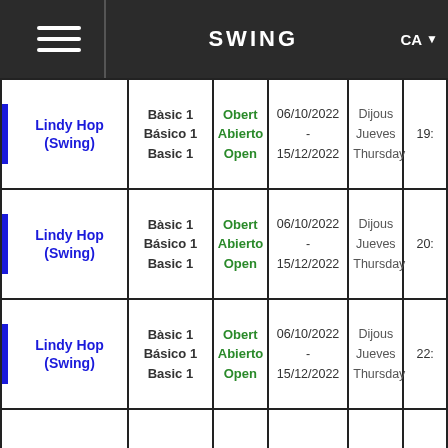SWING
| Dance | Level | Status | Dates | Day | Time |
| --- | --- | --- | --- | --- | --- |
| Lindy Hop (Swing) | Bàsic 1 / Básico 1 / Basic 1 | Obert / Abierto / Open | 06/10/2022 - 15/12/2022 | Dijous / Jueves / Thursday | 19:... |
| Lindy Hop (Swing) | Bàsic 1 / Básico 1 / Basic 1 | Obert / Abierto / Open | 06/10/2022 - 15/12/2022 | Dijous / Jueves / Thursday | 20:... |
| Lindy Hop (Swing) | Bàsic 1 / Básico 1 / Basic 1 | Obert / Abierto / Open | 06/10/2022 - 15/12/2022 | Dijous / Jueves / Thursday | 22:... |